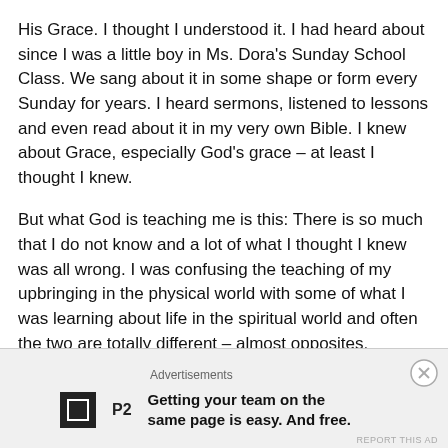His Grace.  I thought I understood it.  I had heard about since I was a little boy in Ms. Dora's Sunday School Class.  We sang about it in some shape or form every Sunday for years.  I heard sermons, listened to lessons and even read about it in my very own Bible.  I knew about Grace, especially God's grace – at least I thought I knew.
But what God is teaching me is this:  There is so much that I do not know and a lot of what I thought I knew was all wrong.  I was confusing the teaching of my upbringing in the physical world with some of what I was learning about life in the spiritual world and often the two are totally different – almost opposites.
Let's look at the example of grace – what is it exactly?  Here's
Advertisements
Getting your team on the same page is easy. And free.